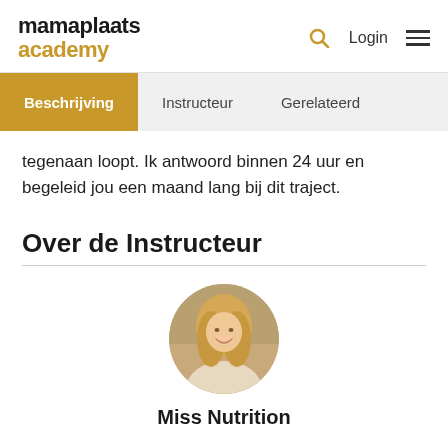mamaplaats academy
Beschrijving | Instructeur | Gerelateerd
tegenaan loopt. Ik antwoord binnen 24 uur en begeleid jou een maand lang bij dit traject.
Over de Instructeur
[Figure (photo): Circular portrait photo of Miss Nutrition, a smiling woman with blonde hair in an outdoor setting]
Miss Nutrition